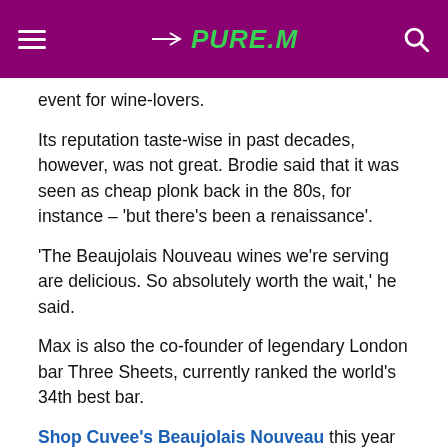Pure.m
event for wine-lovers.
Its reputation taste-wise in past decades, however, was not great. Brodie said that it was seen as cheap plonk back in the 80s, for instance – 'but there's been a renaissance'.
'The Beaujolais Nouveau wines we're serving are delicious. So absolutely worth the wait,' he said.
Max is also the co-founder of legendary London bar Three Sheets, currently ranked the world's 34th best bar.
Shop Cuvee's Beaujolais Nouveau this year costs £19 a bottle. Its two stores, which also sell cocktails and craft beer, are at 177B Blackstock Road, N5, and 250A Bethnal Green Rd, E2.